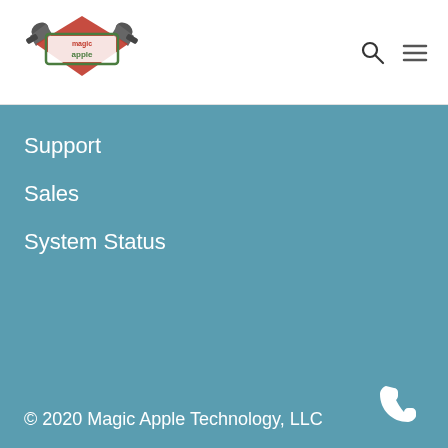[Figure (logo): Magic Apple Technology logo with two megaphones and a red/green decorative badge shape with text 'magic apple']
[Figure (other): Search (magnifying glass) icon and hamburger menu icon in top-right header]
Support
Sales
System Status
[Figure (other): Phone/call icon in the bottom-right corner]
© 2020 Magic Apple Technology, LLC